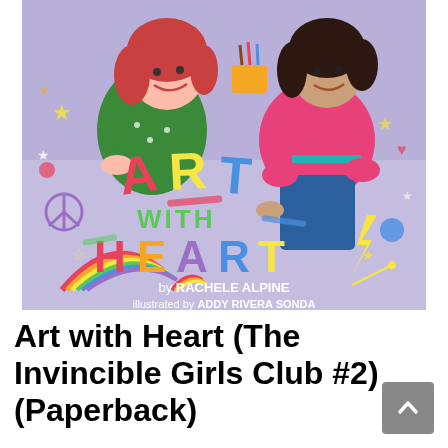[Figure (illustration): Book cover of 'Art with Heart (The Invincible Girls Club #2)' showing two illustrated girls drawing on the ground with chalk/paint on a purple background. One girl has red hair and wears a green jacket; the other has dark hair and wears a pink top and jeans. The cover features colorful text reading 'ART WITH HEART' in large multicolored letters, rainbows, stars, hearts and other doodles. Bottom text reads 'by RACHELE ALPINE illustrated by ADDY RIVERA SONDA'.]
Art with Heart (The Invincible Girls Club #2) (Paperback)